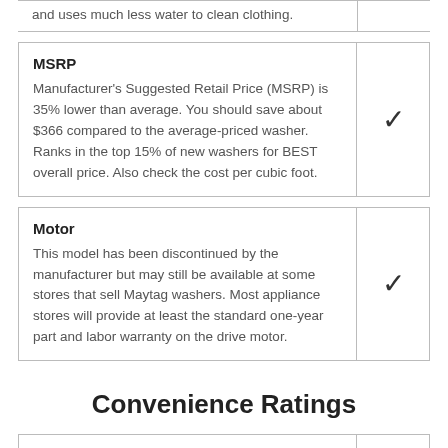and uses much less water to clean clothing.
MSRP
Manufacturer's Suggested Retail Price (MSRP) is 35% lower than average. You should save about $366 compared to the average-priced washer. Ranks in the top 15% of new washers for BEST overall price. Also check the cost per cubic foot.
Motor
This model has been discontinued by the manufacturer but may still be available at some stores that sell Maytag washers. Most appliance stores will provide at least the standard one-year part and labor warranty on the drive motor.
Convenience Ratings